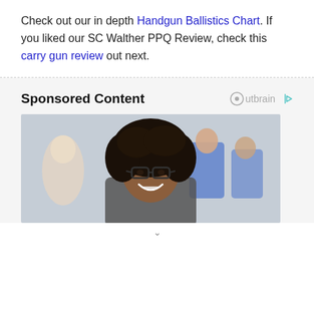Check out our in depth Handgun Ballistics Chart. If you liked our SC Walther PPQ Review, check this carry gun review out next.
Sponsored Content
[Figure (photo): A smiling woman with curly hair and glasses in the foreground, with a group of people in blue scrubs and white coats visible behind her in a medical or office setting.]